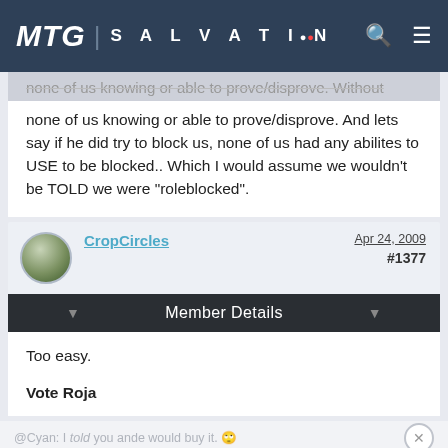MTG SALVATION
none of us knowing or able to prove/disprove. And lets say if he did try to block us, none of us had any abilites to USE to be blocked.. Which I would assume we wouldn't be TOLD we were "roleblocked".
CropCircles   Apr 24, 2009   #1377
Member Details
Too easy.
Vote Roja
@Cyan: I told you ande would buy it.